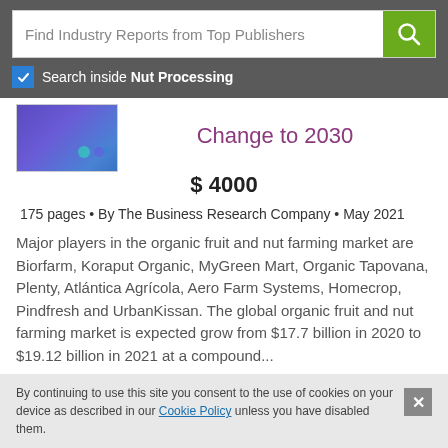Find Industry Reports from Top Publishers
Search inside Nut Processing
Change to 2030
$ 4000
175 pages • By The Business Research Company • May 2021
Major players in the organic fruit and nut farming market are Biorfarm, Koraput Organic, MyGreen Mart, Organic Tapovana, Plenty, Atlántica Agrícola, Aero Farm Systems, Homecrop, Pindfresh and UrbanKissan. The global organic fruit and nut farming market is expected grow from $17.7 billion in 2020 to $19.12 billion in 2021 at a compound...
By continuing to use this site you consent to the use of cookies on your device as described in our Cookie Policy unless you have disabled them.